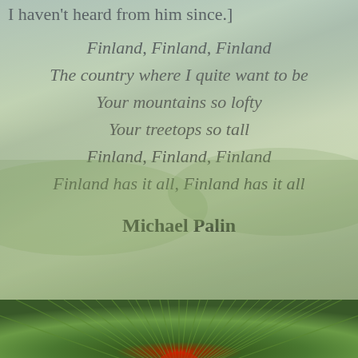[Figure (photo): Background photo of a green meadow/field with hills and birds, overlaid with semi-transparent white to allow text overlay.]
I haven't heard from him since.]
Finland, Finland, Finland
The country where I quite want to be
Your mountains so lofty
Your treetops so tall
Finland, Finland, Finland
Finland has it all, Finland has it all
Michael Palin
[Figure (photo): Close-up photo of green pine needles or grass with a red/orange center radial burst, viewed from below.]